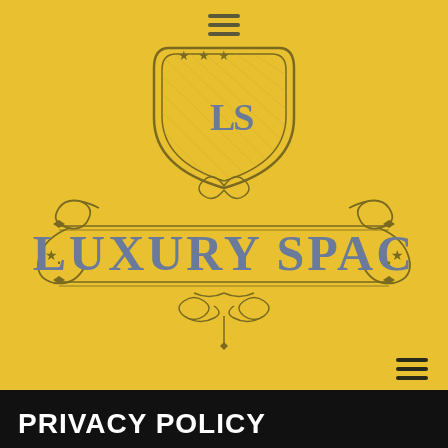[Figure (logo): Luxury Spac logo on yellow background featuring an ornate heraldic shield with LS monogram, decorative scrollwork, stars, and double border lines with the text LUXURY SPAC in large grey serif letters]
PRIVACY POLICY